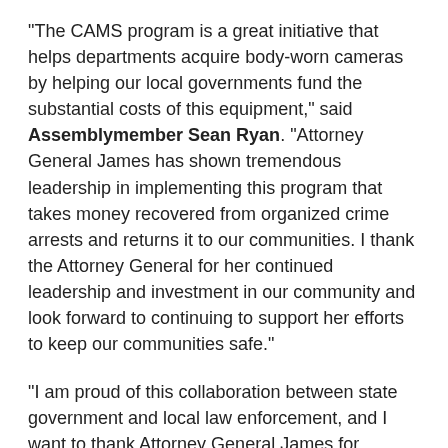"The CAMS program is a great initiative that helps departments acquire body-worn cameras by helping our local governments fund the substantial costs of this equipment," said Assemblymember Sean Ryan. "Attorney General James has shown tremendous leadership in implementing this program that takes money recovered from organized crime arrests and returns it to our communities. I thank the Attorney General for her continued leadership and investment in our community and look forward to continuing to support her efforts to keep our communities safe."
"I am proud of this collaboration between state government and local law enforcement, and I want to thank Attorney General James for awarding these funds to the Buffalo Police Department," said Assemblymember Pat Burke. "Body-worn cameras, and the transparency they offer, are critical for the safety of our law enforcement officers and